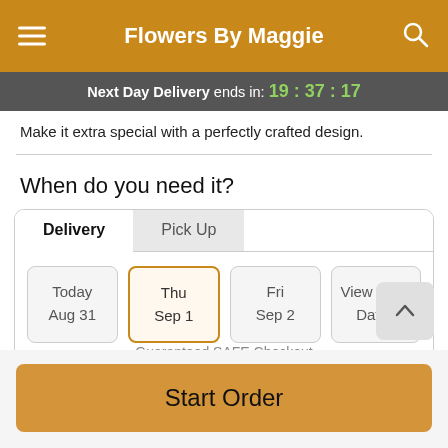Flowers By Maggie
Next Day Delivery ends in: 19:37:17
Make it extra special with a perfectly crafted design.
When do you need it?
Delivery  Pick Up
Today Aug 31 | Thu Sep 1 | Fri Sep 2 | View More Dates
Guaranteed SAFE Checkout
Start Order